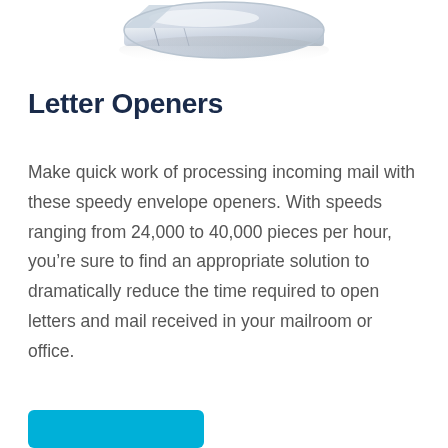[Figure (photo): Partial product photo of a letter opener machine, shown from above, white/silver color, cropped at the top of the page.]
Letter Openers
Make quick work of processing incoming mail with these speedy envelope openers. With speeds ranging from 24,000 to 40,000 pieces per hour, you’re sure to find an appropriate solution to dramatically reduce the time required to open letters and mail received in your mailroom or office.
[Figure (other): Blue button/call-to-action element at the bottom of the page, partially visible.]